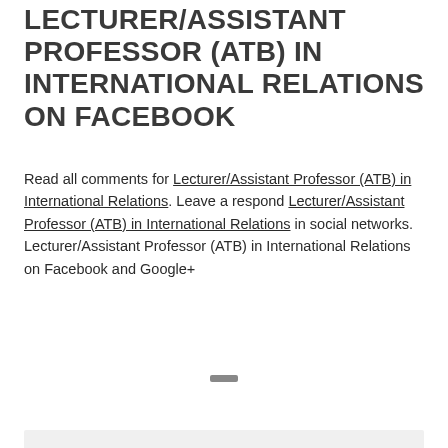LECTURER/ASSISTANT PROFESSOR (ATB) IN INTERNATIONAL RELATIONS ON FACEBOOK
Read all comments for Lecturer/Assistant Professor (ATB) in International Relations. Leave a respond Lecturer/Assistant Professor (ATB) in International Relations in social networks. Lecturer/Assistant Professor (ATB) in International Relations on Facebook and Google+